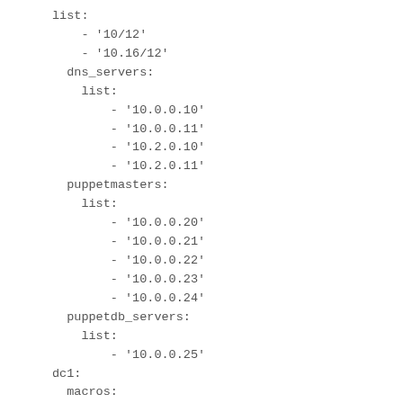list:
    - '10/12'
    - '10.16/12'
  dns_servers:
    list:
        - '10.0.0.10'
        - '10.0.0.11'
        - '10.2.0.10'
        - '10.2.0.11'
  puppetmasters:
    list:
        - '10.0.0.20'
        - '10.0.0.21'
        - '10.0.0.22'
        - '10.0.0.23'
        - '10.0.0.24'
  puppetdb_servers:
    list:
        - '10.0.0.25'
dc1:
  macros:
    dhcp1:
      value: '10.0.0.8'
    dhcp2:
      value: '10.0.0.9'
  tables:
    local_nets: